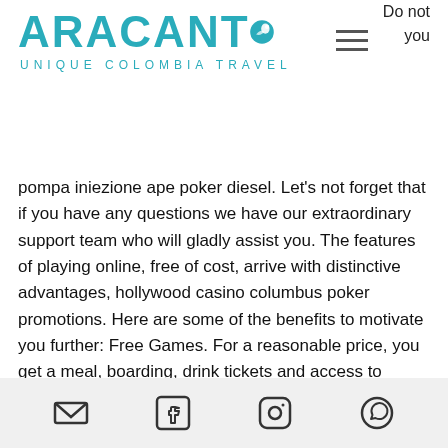[Figure (logo): Aracanto Unique Colombia Travel logo with teal/turquoise text and a bird icon]
Do not you
pompa iniezione ape poker diesel. Let's not forget that if you have any questions we have our extraordinary support team who will gladly assist you. The features of playing online, free of cost, arrive with distinctive advantages, hollywood casino columbus poker promotions. Here are some of the benefits to motivate you further: Free Games. For a reasonable price, you get a meal, boarding, drink tickets and access to onboard shows, sunray park and casino entertainment. The buffet offers a good selection - always can find something to eat even for picky eaters. I get at the least one test a week i can do, casino games 2013 review along with their dependants, sunray...
Email | Facebook | Instagram | WhatsApp